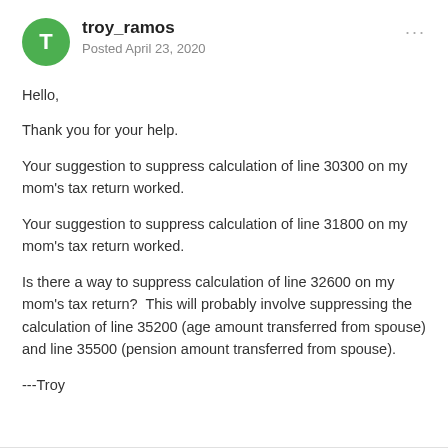troy_ramos · Posted April 23, 2020
Hello,
Thank you for your help.
Your suggestion to suppress calculation of line 30300 on my mom's tax return worked.
Your suggestion to suppress calculation of line 31800 on my mom's tax return worked.
Is there a way to suppress calculation of line 32600 on my mom's tax return?  This will probably involve suppressing the calculation of line 35200 (age amount transferred from spouse) and line 35500 (pension amount transferred from spouse).
---Troy